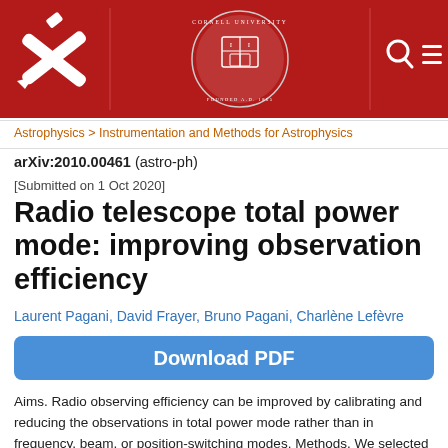[Figure (logo): arXiv header bar with arXiv X logo on left, Cornell University seal in center, search and menu icons on right, dark red background]
Astrophysics > Instrumentation and Methods for Astrophysics
arXiv:2010.00461 (astro-ph)
[Submitted on 1 Oct 2020]
Radio telescope total power mode: improving observation efficiency
Laurent Pagani, David Frayer, Bruno Pagani, Charlène Lefèvre
Download PDF
Aims. Radio observing efficiency can be improved by calibrating and reducing the observations in total power mode rather than in frequency, beam, or position-switching modes. Methods. We selected a sample of spectra obtained from the Institut de Radio-Astronomie Millimétrique (IRAM) 30-m telescope and the Green Bank Telescope (GBT) to test the feasibility of the method. Given that modern front-end amplifiers for the GBT and direct Local Oscillator injection for the 30-m telescope provide the method that